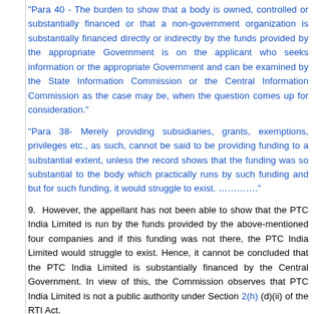"Para 40 - The burden to show that a body is owned, controlled or substantially financed or that a non-government organization is substantially financed directly or indirectly by the funds provided by the appropriate Government is on the applicant who seeks information or the appropriate Government and can be examined by the State Information Commission or the Central Information Commission as the case may be, when the question comes up for consideration."
"Para 38- Merely providing subsidiaries, grants, exemptions, privileges etc., as such, cannot be said to be providing funding to a substantial extent, unless the record shows that the funding was so substantial to the body which practically runs by such funding and but for such funding, it would struggle to exist. …………."
9. However, the appellant has not been able to show that the PTC India Limited is run by the funds provided by the above-mentioned four companies and if this funding was not there, the PTC India Limited would struggle to exist. Hence, it cannot be concluded that the PTC India Limited is substantially financed by the Central Government. In view of this, the Commission observes that PTC India Limited is not a public authority under Section 2(h) (d)(ii) of the RTI Act.
10. The Commission further observes that the Hon'ble Delhi High Court in the case of Indian Potash Limited & Ors. vs. Union of India & Ors., W.P. (C) 7878/2015, dated 28.11.2017 has held as under:-